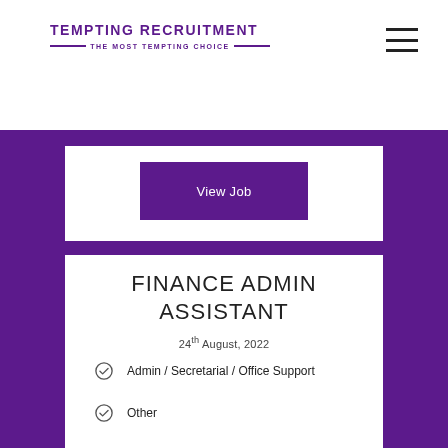TEMPTING RECRUITMENT — THE MOST TEMPTING CHOICE —
View Job
FINANCE ADMIN ASSISTANT
24th August, 2022
Admin / Secretarial / Office Support
Other